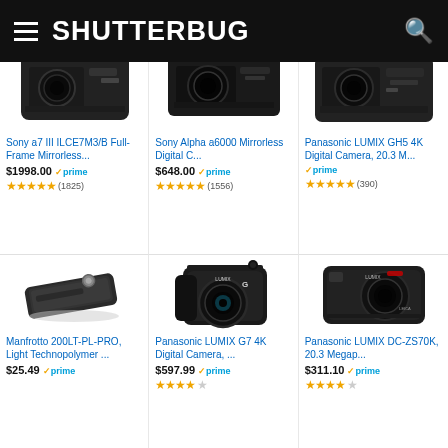SHUTTERBUG
[Figure (photo): Sony a7 III ILCE7M3/B Full-Frame Mirrorless camera product image (top cropped)]
Sony a7 III ILCE7M3/B Full-Frame Mirrorless...
$1998.00 prime
★★★★★ (1825)
[Figure (photo): Sony Alpha a6000 Mirrorless Digital Camera product image (top cropped)]
Sony Alpha a6000 Mirrorless Digital C...
$648.00 prime
★★★★★ (1556)
[Figure (photo): Panasonic LUMIX GH5 4K Digital Camera product image (top cropped)]
Panasonic LUMIX GH5 4K Digital Camera, 20.3 M...
prime
★★★★★ (390)
[Figure (photo): Manfrotto 200LT-PL-PRO light technopolymer quick release plate product image]
Manfrotto 200LT-PL-PRO, Light Technopolymer ...
$25.49 prime
[Figure (photo): Panasonic LUMIX G7 4K Digital Camera product image]
Panasonic LUMIX G7 4K Digital Camera, ...
$597.99 prime
★★★★☆
[Figure (photo): Panasonic LUMIX DC-ZS70K 20.3 Megapixel compact camera product image]
Panasonic LUMIX DC-ZS70K, 20.3 Megap...
$311.10 prime
★★★★☆